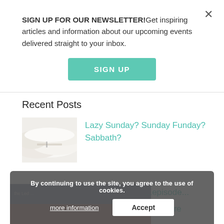SIGN UP FOR OUR NEWSLETTER!Get inspiring articles and information about our upcoming events delivered straight to your inbox.
SIGN UP
Recent Posts
[Figure (photo): White fluffy bedding/pillow close-up photo]
Lazy Sunday? Sunday Funday? Sabbath?
[Figure (photo): Dark toned partial image, partially visible text about 'Into Dea...' and 'from here', overlaid by cookie consent banner]
By continuing to use the site, you agree to the use of cookies.
more information
Accept